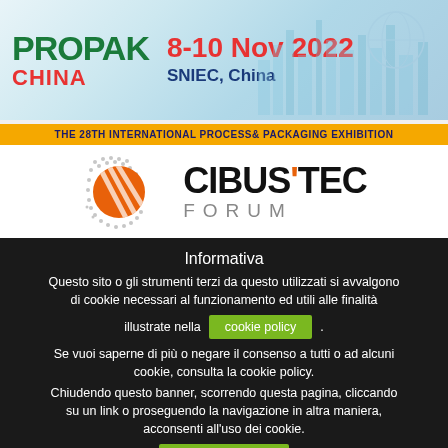[Figure (logo): Propak China logo with date 8-10 Nov 2022, SNIEC China, and subtitle THE 28TH INTERNATIONAL PROCESS& PACKAGING EXHIBITION]
[Figure (logo): Cibus Tec Forum logo with orange circular icon and gray dotted circular background]
Informativa
Questo sito o gli strumenti terzi da questo utilizzati si avvalgono di cookie necessari al funzionamento ed utili alle finalità illustrate nella cookie policy.
Se vuoi saperne di più o negare il consenso a tutti o ad alcuni cookie, consulta la cookie policy.
Chiudendo questo banner, scorrendo questa pagina, cliccando su un link o proseguendo la navigazione in altra maniera, acconsenti all'uso dei cookie.
Accetta